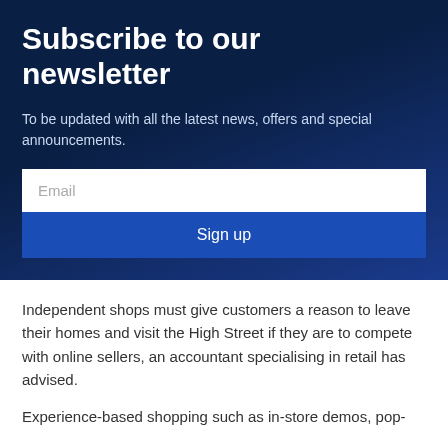Subscribe to our newsletter
To be updated with all the latest news, offers and special announcements.
Independent shops must give customers a reason to leave their homes and visit the High Street if they are to compete with online sellers, an accountant specialising in retail has advised.
Experience-based shopping such as in-store demos, pop-